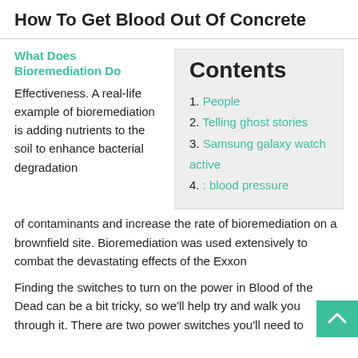How To Get Blood Out Of Concrete
What Does Bioremediation Do
Effectiveness. A real-life example of bioremediation is adding nutrients to the soil to enhance bacterial degradation of contaminants and increase the rate of bioremediation on a brownfield site. Bioremediation was used extensively to combat the devastating effects of the Exxon
Contents
1. People
2. Telling ghost stories
3. Samsung galaxy watch active
4. : blood pressure
Finding the switches to turn on the power in Blood of the Dead can be a bit tricky, so we'll help try and walk you through it. There are two power switches you'll need to